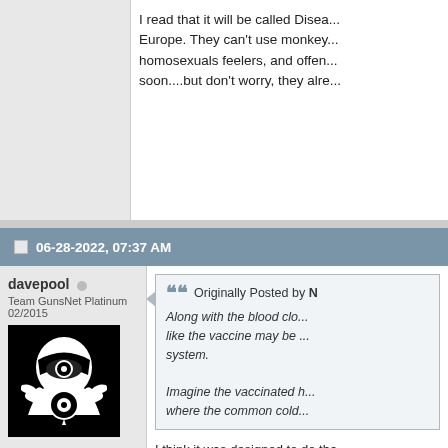I read that it will be called Disea... Europe. They can't use monkey... homosexuals feelers, and offen... soon....but don't worry, they alre...
06-28-2022, 07:37 AM
davepool
Team GunsNet Platinum 02/2015
Join Date: Jul 2010
Location: Phoenix,Az
Posts: 4,464
Originally Posted by N...
Along with the blood clo... like the vaccine may be ... system.
Imagine the vaccinated h... where the common cold...
I think it was designed to do tha... pharma forever....and it will sele... groups of "problematic" people;... released a book about the trum... pandemic farce, i think it's a set... admits they knew the vax didn't... congressional hearing:
https://www.c-span.org/video/?c...